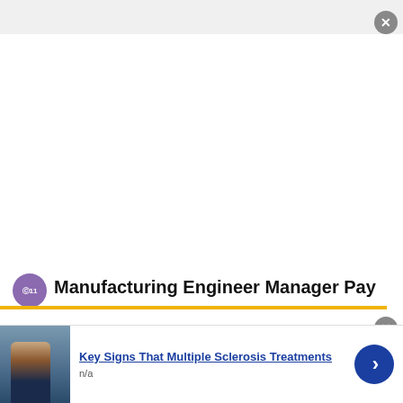[Figure (screenshot): Top gray banner area of a website UI]
Manufacturing Engineer Manager Pay
This site uses cookies and other similar technologies to provide site functionality, analyze traffic and usage, and
[Figure (infographic): Bottom ad bar: image of person, ad title 'Key Signs That Multiple Sclerosis Treatments', subtext 'n/a', blue arrow button]